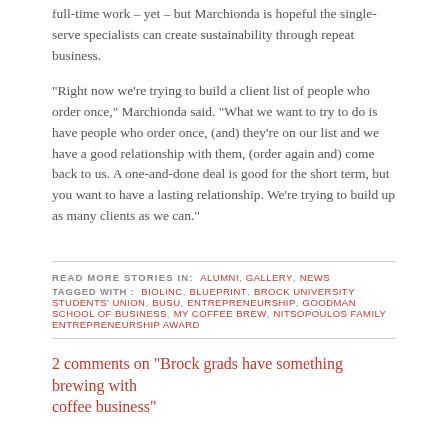full-time work – yet – but Marchionda is hopeful the single-serve specialists can create sustainability through repeat business.
“Right now we’re trying to build a client list of people who order once,” Marchionda said. “What we want to try to do is have people who order once, (and) they’re on our list and we have a good relationship with them, (order again and) come back to us. A one-and-done deal is good for the short term, but you want to have a lasting relationship. We’re trying to build up as many clients as we can.”
READ MORE STORIES IN: Alumni, Gallery, News
TAGGED WITH: BioLinc, Blueprint, Brock University Students’ Union, busu, entrepreneurship, Goodman School of Business, My Coffee Brew, Nitsopoulos Family Entrepreneurship Award
2 comments on “Brock grads have something brewing with coffee business”